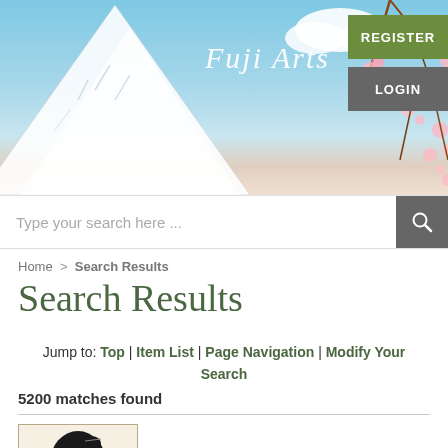[Figure (screenshot): Fuji Arts website header banner showing Mount Fuji with snow, cherry blossoms, blue sky background, Fuji Arts italic text, REGISTER green button, LOGIN gray button]
Type your search here ...
Home > Search Results
Search Results
Jump to: Top | Item List | Page Navigation | Modify Your Search
5200 matches found
[Figure (illustration): Japanese woodblock print artwork thumbnail showing a woman in traditional style]